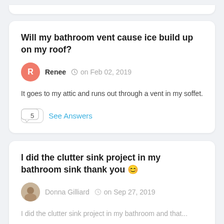Will my bathroom vent cause ice build up on my roof?
Renee  on Feb 02, 2019
It goes to my attic and runs out through a vent in my soffet.
5  See Answers
I did the clutter sink project in my bathroom sink thank you 😊
Donna Gilliard  on Sep 27, 2019
I did the clutter sink project in my bathroom and that...